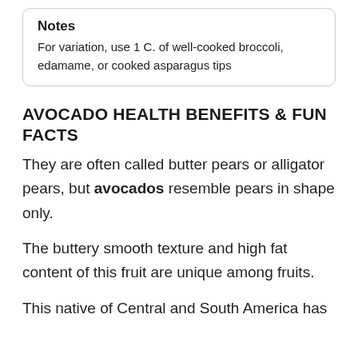Notes
For variation, use 1 C. of well-cooked broccoli, edamame, or cooked asparagus tips
AVOCADO HEALTH BENEFITS & FUN FACTS
They are often called butter pears or alligator pears, but avocados resemble pears in shape only.
The buttery smooth texture and high fat content of this fruit are unique among fruits.
This native of Central and South America has